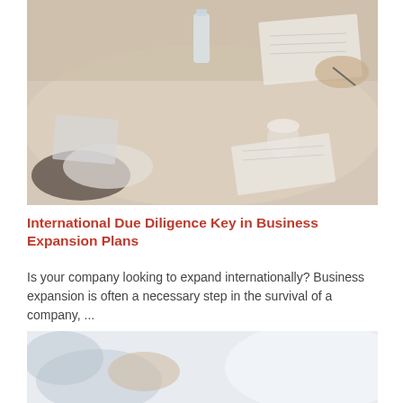[Figure (photo): Blurred overhead view of business meeting around a conference table with papers, notebooks, and a water bottle]
International Due Diligence Key in Business Expansion Plans
Is your company looking to expand internationally? Business expansion is often a necessary step in the survival of a company, ...
[Figure (photo): Blurred image of business people in a meeting room, partially visible hands and bright background]